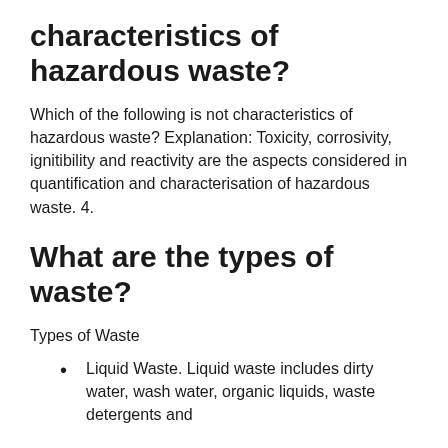characteristics of hazardous waste?
Which of the following is not characteristics of hazardous waste? Explanation: Toxicity, corrosivity, ignitibility and reactivity are the aspects considered in quantification and characterisation of hazardous waste. 4.
What are the types of waste?
Types of Waste
Liquid Waste. Liquid waste includes dirty water, wash water, organic liquids, waste detergents and